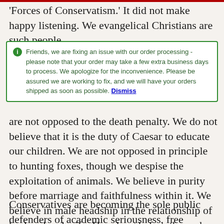'Forces of Conservatism.' It did not make happy listening. We evangelical Christians are such people.
Friends, we are fixing an issue with our order processing - please note that your order may take a few extra business days to process. We apologize for the inconvenience. Please be assured we are working to fix, and we will have your orders shipped as soon as possible. Dismiss
are not opposed to the death penalty. We do not believe that it is the duty of Caesar to educate our children. We are not opposed in principle to hunting foxes, though we despise the exploitation of animals. We believe in purity before marriage and faithfulness within it. We believe in male headship in the relationship of husband and wife. How long before the mobs and the paint daubers start gathering around our doors?
Conservatives are becoming the sole public defenders of academic seriousness, free discussion and